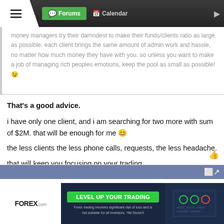Forums | Calendar
money managers try their damndest to make their funds/clients ratio as large as possible. each client brings the same amount of admin work and hassle, no matter how much money they have with you. so unless you want to make a job of managing rich peoples emotions, keep the pool as small as possible! 😉
That's a good advice.

i have only one client, and i am searching for two more with sum of $2M. that will be enough for me 😊

the less clients the less phone calls, requests, the less headache.

that will keep you focusing on your trading.
0 traders viewing now
Options
[Figure (screenshot): Forex.com advertisement banner: LEVEL UP YOUR TRADING with green CTA button, disclaimer text, and platform screenshot]